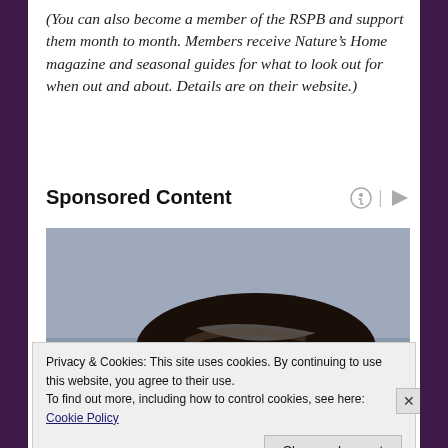(You can also become a member of the RSPB and support them month to month. Members receive Nature's Home magazine and seasonal guides for what to look out for when out and about. Details are on their website.)
Sponsored Content
[Figure (photo): Top of a person's head with dark hair, photographed against a grey blurred background.]
Privacy & Cookies: This site uses cookies. By continuing to use this website, you agree to their use.
To find out more, including how to control cookies, see here: Cookie Policy